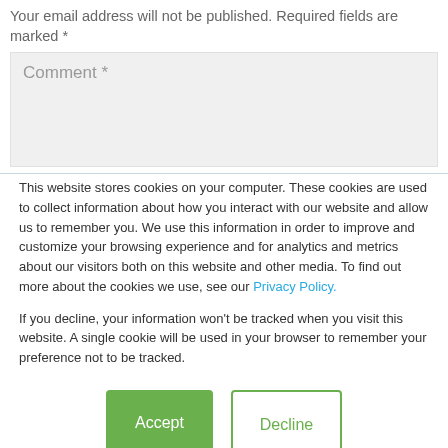Your email address will not be published. Required fields are marked *
[Figure (other): Comment text area input field with placeholder text 'Comment *' on a light grey background]
This website stores cookies on your computer. These cookies are used to collect information about how you interact with our website and allow us to remember you. We use this information in order to improve and customize your browsing experience and for analytics and metrics about our visitors both on this website and other media. To find out more about the cookies we use, see our Privacy Policy.
If you decline, your information won't be tracked when you visit this website. A single cookie will be used in your browser to remember your preference not to be tracked.
Accept
Decline